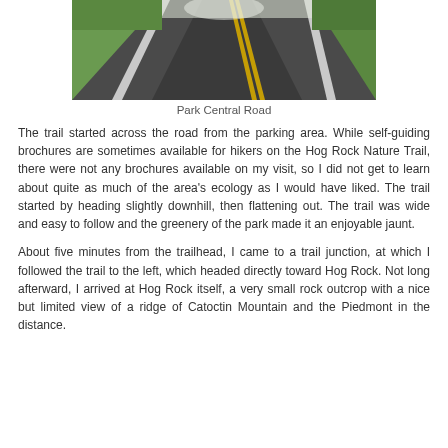[Figure (photo): A two-lane asphalt road with a double yellow center line and white edge lines, surrounded by green grass and trees, stretching into the distance. The road is shown from a low perspective looking ahead.]
Park Central Road
The trail started across the road from the parking area. While self-guiding brochures are sometimes available for hikers on the Hog Rock Nature Trail, there were not any brochures available on my visit, so I did not get to learn about quite as much of the area's ecology as I would have liked. The trail started by heading slightly downhill, then flattening out. The trail was wide and easy to follow and the greenery of the park made it an enjoyable jaunt.
About five minutes from the trailhead, I came to a trail junction, at which I followed the trail to the left, which headed directly toward Hog Rock. Not long afterward, I arrived at Hog Rock itself, a very small rock outcrop with a nice but limited view of a ridge of Catoctin Mountain and the Piedmont in the distance.